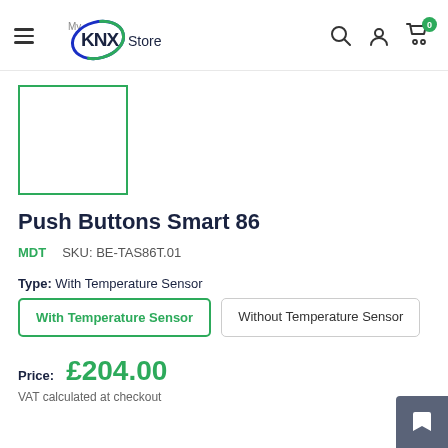My KNX Store
[Figure (other): Product image placeholder — empty white box with green border]
Push Buttons Smart 86
MDT   SKU: BE-TAS86T.01
Type: With Temperature Sensor
With Temperature Sensor | Without Temperature Sensor
Price: £204.00
VAT calculated at checkout